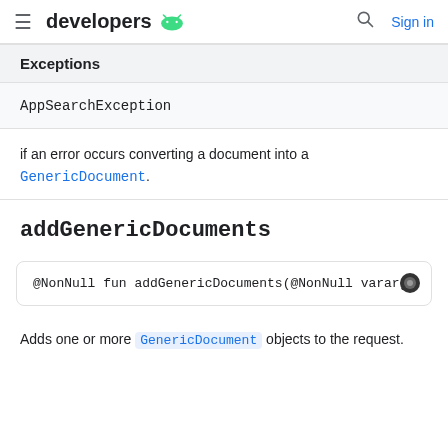developers [android logo] / Sign in
Exceptions
| Exceptions |
| --- |
| AppSearchException |
if an error occurs converting a document into a GenericDocument.
addGenericDocuments
@NonNull fun addGenericDocuments(@NonNull vararg doc
Adds one or more GenericDocument objects to the request.